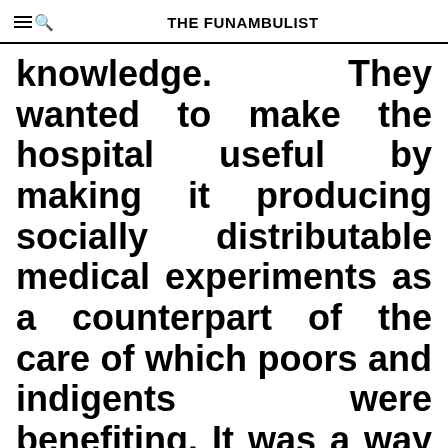THE FUNAMBULIST
knowledge. They wanted to make the hospital useful by making it producing socially distributable medical experiments as a counterpart of the care of which poors and indigents were benefiting. It was a way for the clinic to invest into the hospital in order to make it